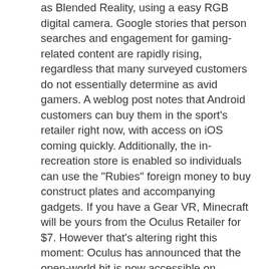as Blended Reality, using a easy RGB digital camera. Google stories that person searches and engagement for gaming-related content are rapidly rising, regardless that many surveyed customers do not essentially determine as avid gamers. A weblog post notes that Android customers can buy them in the sport's retailer right now, with access on iOS coming quickly. Additionally, the in-recreation store is enabled so individuals can use the "Rubies" foreign money to buy construct plates and accompanying gadgets. If you have a Gear VR, Minecraft will be yours from the Oculus Retailer for $7. However that's altering right this moment: Oculus has announced that the open-world hit is now accessible on Samsung's digital reality headset.
The option is barely accessible by means of Xbox One, Windows 10 and Android for now. Whether you are right here for Minecraft or Devoted Options our experienced technicians are here to assist.Despite the overwhelming computing visitors conditions which are actually viewed as important to the community infrastructure, Axelaris internet hosting ensures a 100 Mbps Bandwidth with a limiteless Site visitors, as such any connection drawback is restricted. Elsewhere, the visually-targeted launch brings bodily-based rendering (PBR), which implies surfaces are set to look a lot more real looking, whether or not they're tough matte stone or glossy clean ice, and to help